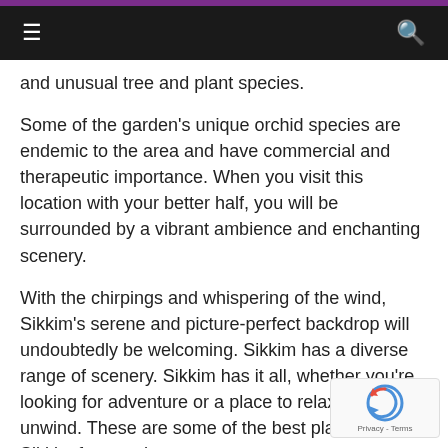≡  [navigation bar]  🔍
and unusual tree and plant species.
Some of the garden's unique orchid species are endemic to the area and have commercial and therapeutic importance. When you visit this location with your better half, you will be surrounded by a vibrant ambience and enchanting scenery.
With the chirpings and whispering of the wind, Sikkim's serene and picture-perfect backdrop will undoubtedly be welcoming. Sikkim has a diverse range of scenery. Sikkim has it all, whether you're looking for adventure or a place to relax and unwind. These are some of the best places to in Sikkim for your honeymoon.
[Figure (logo): reCAPTCHA badge with circular arrow logo and Privacy - Terms text]